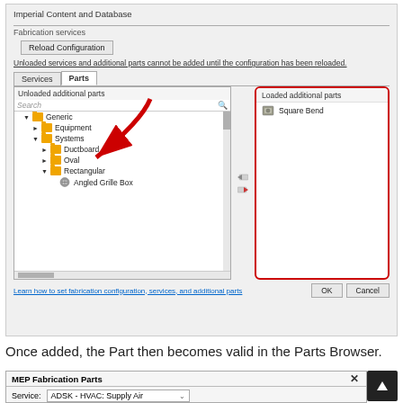[Figure (screenshot): Software dialog showing Imperial Content and Database configuration window with Fabrication services section, Reload Configuration button, warning text, Services/Parts tabs, Unloaded additional parts tree (Generic > Equipment, Systems > Ductboard, Oval, Rectangular > Angled Grille Box), Loaded additional parts panel with Square Bend, OK and Cancel buttons, and a red arrow annotation pointing to the Parts tab.]
Once added, the Part then becomes valid in the Parts Browser.
[Figure (screenshot): MEP Fabrication Parts dialog strip showing Service: ADSK - HVAC: Supply Air dropdown, with a dark up-arrow button on the right.]